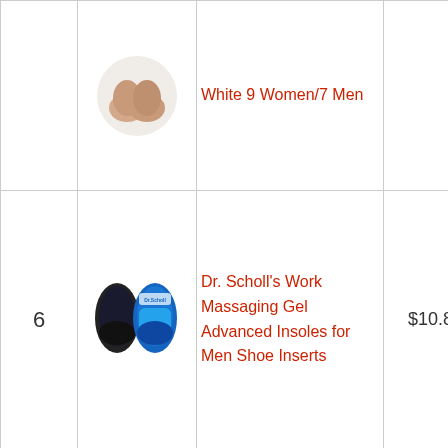| # | Image | Product Name | Price | Buy |
| --- | --- | --- | --- | --- |
|  |  | White 9 Women/7 Men |  | Buy on Amazon |
| 6 |  | Dr. Scholl’s Work Massaging Gel Advanced Insoles for Men Shoe Inserts | $10.88 | Buy on Amazon |
|  |  | Dr. Scholl’s Heavy Duty Support Pain Relief Orthotics, |  |  |